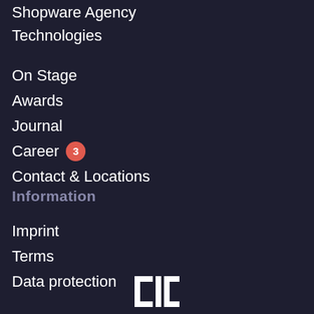Shopware Agency
Technologies
On Stage
Awards
Journal
Career 3
Contact & Locations
Information
Imprint
Terms
Data protection
[Figure (logo): DW logo in white, square bracket style lettering]